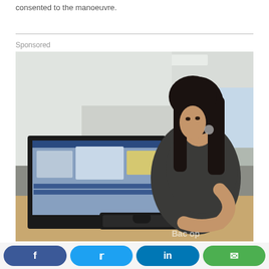consented to the manoeuvre.
[Figure (photo): A young woman with long dark hair sits at a computer desk in an open-plan office, looking over her shoulder at the camera while using a keyboard. A monitor displays a Windows desktop. The watermark 'Bac...op' is visible in the lower right corner.]
Sponsored
Social share bar with Facebook, Twitter, LinkedIn, and Email buttons